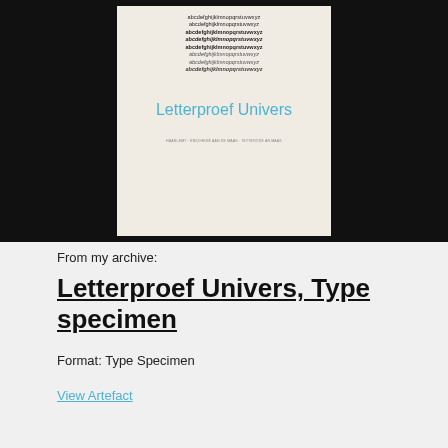[Figure (photo): Scan of a type specimen booklet titled 'Letterproef Univers' showing multiple lines of alphabet in various weights of the Univers typeface, with the title in blue text, displayed against a black background.]
From my archive:
Letterproef Univers, Type specimen
Format: Type Specimen
View Artefact